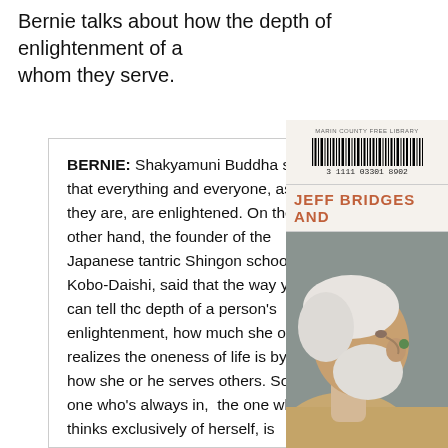Bernie talks about how the depth of enlightenment of a person can be seen by how much they serve.
BERNIE: Shakyamuni Buddha said that everything and everyone, as they are, are enlightened. On the other hand, the founder of the Japanese tantric Shingon school, Kobo-Daishi, said that the way you can tell thc depth of a person's enlightenment, how much she or he realizes the oneness of life is by how she or he serves others. So the one who's always in, the one who thinks exclusively of herself, is seeing the oneness of her own self and
[Figure (photo): Book cover showing 'JEFF BRIDGES AND' text in coral/orange with a barcode label from Marin County Free Library (3 1111 03301 8902), and a photo of an elderly man with white hair and beard seen in profile.]